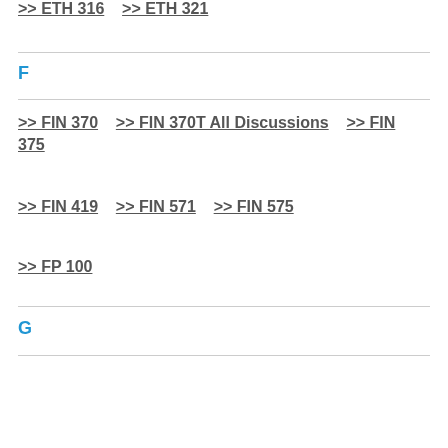>> ETH 316    >> ETH 321
F
>> FIN 370    >> FIN 370T All Discussions    >> FIN 375
>> FIN 419    >> FIN 571    >> FIN 575
>> FP 100
G